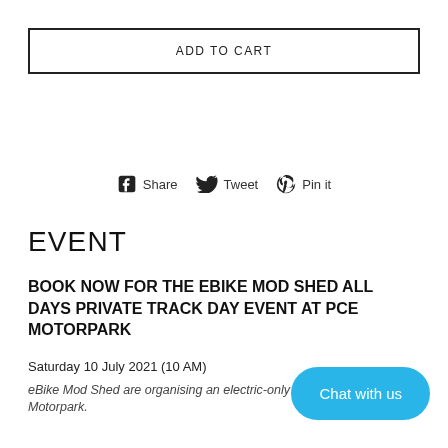ADD TO CART
Share  Tweet  Pin it
EVENT
BOOK NOW FOR THE EBIKE MOD SHED ALL DAYS PRIVATE TRACK DAY EVENT AT PCE MOTORPARK
Saturday 10 July 2021 (10 AM)
eBike Mod Shed are organising an electric-only event at PCE Motorpark.